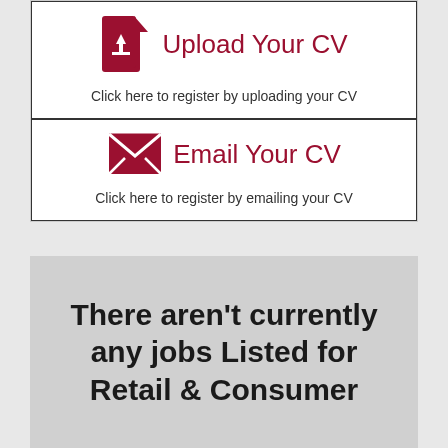[Figure (infographic): Upload Your CV box with dark red file upload icon and text: Click here to register by uploading your CV]
[Figure (infographic): Email Your CV box with dark red envelope icon and text: Click here to register by emailing your CV]
There aren't currently any jobs Listed for Retail & Consumer